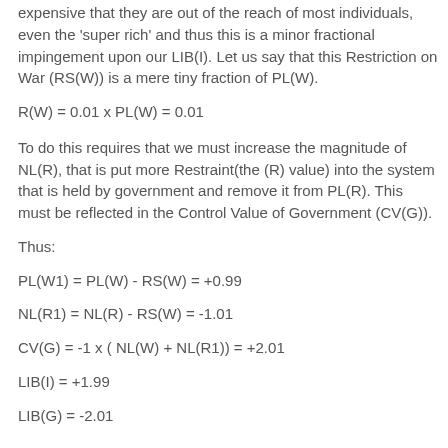expensive that they are out of the reach of most individuals, even the 'super rich' and thus this is a minor fractional impingement upon our LIB(I). Let us say that this Restriction on War (RS(W)) is a mere tiny fraction of PL(W).
To do this requires that we must increase the magnitude of NL(R), that is put more Restraint(the (R) value) into the system that is held by government and remove it from PL(R). This must be reflected in the Control Value of Government (CV(G)).
Thus: